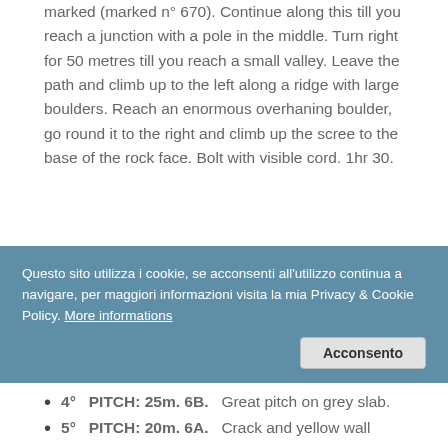marked (marked n° 670). Continue along this till you reach a junction with a pole in the middle. Turn right for 50 metres till you reach a small valley. Leave the path and climb up to the left along a ridge with large boulders. Reach an enormous overhaning boulder, go round it to the right and climb up the scree to the base of the rock face. Bolt with visible cord. 1hr 30.
Ascent:
1°  PITCH: 30m. 6C.  Beautiful pitch with difficult start
2°  PITCH: 30m. 6C+.  Start is dirty, then
[Figure (other): Cookie consent banner overlay in Italian: 'Questo sito utilizza i cookie, se acconsenti all'utilizzo continua a navigare, per maggiori informazioni visita la mia Privacy & Cookie Policy. More informations' with an 'Acconsento' button.]
4°  PITCH: 25m. 6B.  Great pitch on grey slab.
5°  PITCH: 20m. 6A.  Crack and yellow wall